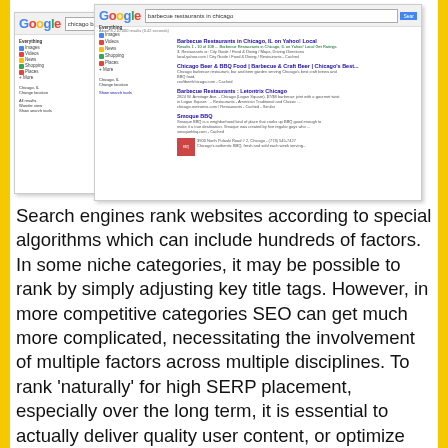[Figure (screenshot): Two overlapping Google SERP screenshots showing search results for 'chicago barbecue restaurants' and 'barbecue restaurants in chicago']
Search engines rank websites according to special algorithms which can include hundreds of factors. In some niche categories, it may be possible to rank by simply adjusting key title tags. However, in more competitive categories SEO can get much more complicated, necessitating the involvement of multiple factors across multiple disciplines. To rank 'naturally' for high SERP placement, especially over the long term, it is essential to actually deliver quality user content, or optimize content for humans, versus for search engine bots. Overtime, as algorithms shift, it is generally cheaters that get shook out, while quality sites tend to stay high, or further ascend the website rankings without any additional modifications following the SERP...